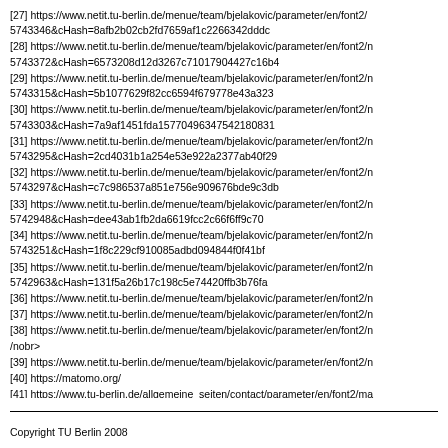[27] https://www.netit.tu-berlin.de/menue/team/bjelakovic/parameter/en/font2/5743346&cHash=8afb2b02cb2fd7659af1c2266342dddc
[28] https://www.netit.tu-berlin.de/menue/team/bjelakovic/parameter/en/font2/n5743372&cHash=6573208d12d3267c71017904427c16b4
[29] https://www.netit.tu-berlin.de/menue/team/bjelakovic/parameter/en/font2/n5743315&cHash=5b1077629f82cc6594f679778e43a323
[30] https://www.netit.tu-berlin.de/menue/team/bjelakovic/parameter/en/font2/n5743303&cHash=7a9af1451fda15770496347542180831
[31] https://www.netit.tu-berlin.de/menue/team/bjelakovic/parameter/en/font2/n5743295&cHash=2cd4031b1a254e53e922a2377ab40f29
[32] https://www.netit.tu-berlin.de/menue/team/bjelakovic/parameter/en/font2/n5743297&cHash=c7c986537a851e756e909676bde9c3db
[33] https://www.netit.tu-berlin.de/menue/team/bjelakovic/parameter/en/font2/n5742948&cHash=dee43ab1fb2da6619fcc2c66f6ff9c70
[34] https://www.netit.tu-berlin.de/menue/team/bjelakovic/parameter/en/font2/n5743251&cHash=1f8c229cf910085adbd094844f0f41bf
[35] https://www.netit.tu-berlin.de/menue/team/bjelakovic/parameter/en/font2/n5742963&cHash=131f5a26b17c198c5e74420ffb3b76fa
[36] https://www.netit.tu-berlin.de/menue/team/bjelakovic/parameter/en/font2/n
[37] https://www.netit.tu-berlin.de/menue/team/bjelakovic/parameter/en/font2/n
[38] https://www.netit.tu-berlin.de/menue/team/bjelakovic/parameter/en/font2/n/nobr>
[39] https://www.netit.tu-berlin.de/menue/team/bjelakovic/parameter/en/font2/n
[40] https://matomo.org/
[41] https://www.tu-berlin.de/allgemeine_seiten/contact/parameter/en/font2/ma2axb1yvw%3D%3D&ask_name=Dr.%20rer.%20nat.%20Igor%20Bjelakovic%%:
Copyright TU Berlin 2008